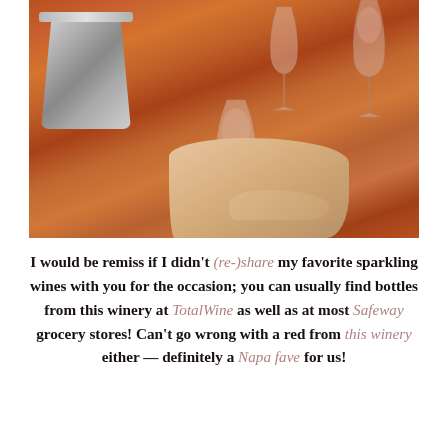[Figure (photo): Photo of wine glasses and an ice bucket on a warm reddish-orange wooden table. A hand is holding a small sparkling wine glass in the foreground.]
I would be remiss if I didn't (re-)share my favorite sparkling wines with you for the occasion; you can usually find bottles from this winery at TotalWine as well as at most Safeway grocery stores! Can't go wrong with a red from this winery either — definitely a Napa fave for us!